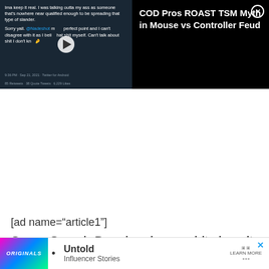[Figure (screenshot): Tweet screenshot showing text: 'Ima keep it real. I was talking outta my ass as someone that's nowhere near qualified enough to be spreading that type of slander. Sorry yall. @Nadeshot made a perfect point and I can't disagree with it as I believe that shit myself. Can't talk about shit I don't know. 9:36 PM · Sep 21, 2021 · Twitter for Android. 85 Retweets  38 Quote Tweets  6,229 Likes' with a video play button overlay.]
[Figure (screenshot): Video thumbnail with title: 'COD Pros ROAST TSM Myth in Mouse vs Controller Feud' on black background with close (X) button.]
[ad name="article1"]
Super Smash Bros has been a hit since it was released in December 2018 and the game got it's first DLC charac... Janua...
[Figure (screenshot): Bottom advertisement bar with Originals colorful logo on left, bullet point, 'Untold Influencer Stories' text in center, 'LEARN MORE' button on right, and X close button.]